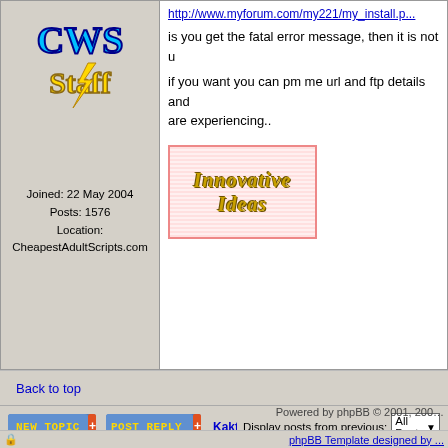[Figure (logo): CWS Staff logo/avatar with colorful text]
Joined: 22 May 2004
Posts: 1576
Location:
CheapestAdultScripts.com
is you get the fatal error message, then it is not u
if you want you can pm me url and ftp details and are experiencing..
[Figure (illustration): Innovative Ideas banner with pink border and striped background]
Back to top
Display posts from previous:  All Posts
[Figure (screenshot): NEW TOPIC button]
[Figure (screenshot): POST REPLY button]
Kaktusan Corp. Support Area Forum Index ->
Page 1 of 1
Powered by phpBB © 2001, 200...
phpBB Template designed by ...